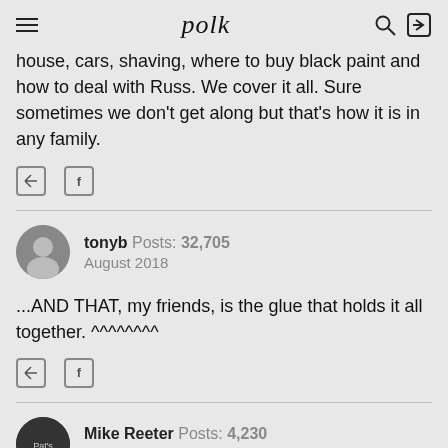polk
house, cars, shaving, where to buy black paint and how to deal with Russ. We cover it all. Sure sometimes we don't get along but that's how it is in any family.
tonyb Posts: 32,705 August 2018
...AND THAT, my friends, is the glue that holds it all together. ^^^^^^^^
Mike Reeter Posts: 4,230 August 2018